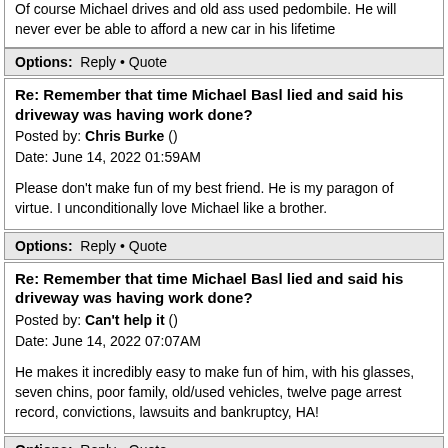Of course Michael drives and old ass used pedombile. He will never ever be able to afford a new car in his lifetime
Options: Reply • Quote
Re: Remember that time Michael Basl lied and said his driveway was having work done?
Posted by: Chris Burke ()
Date: June 14, 2022 01:59AM
Please don't make fun of my best friend. He is my paragon of virtue. I unconditionally love Michael like a brother.
Options: Reply • Quote
Re: Remember that time Michael Basl lied and said his driveway was having work done?
Posted by: Can't help it ()
Date: June 14, 2022 07:07AM
He makes it incredibly easy to make fun of him, with his glasses, seven chins, poor family, old/used vehicles, twelve page arrest record, convictions, lawsuits and bankruptcy, HA!
Options: Reply • Quote
Re: Remember that time Michael Basl lied and said his driveway was having work done?
Posted by: friend of eesh ()
Date: June 14, 2022 11:54PM